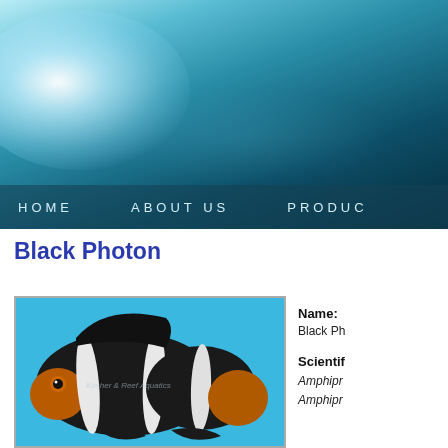[Figure (photo): Underwater scene header banner with light rays and ocean water in teal/blue tones]
HOME   ABOUT US   PRODUC
Black Photon
[Figure (photo): Black and white clownfish (Black Photon clownfish) against a blue background, with orange facial markings]
Name: Black Ph
Scientific: Amphipr
Amphipr